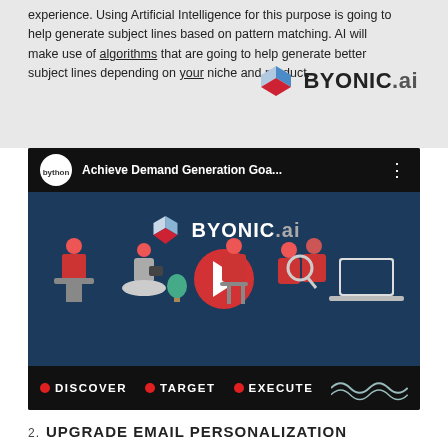experience. Using Artificial Intelligence for this purpose is going to help generate subject lines based on pattern matching. AI will make use of algorithms that are going to help generate better subject lines depending on your niche and product.
[Figure (screenshot): BYONIC.ai logo with red and blue cube icon and text 'BYONIC.ai']
[Figure (screenshot): YouTube video thumbnail showing BYONIC.ai demand generation video with title 'Achieve Demand Generation Goa...' featuring illustrated workers and the tagline DISCOVER • TARGET • EXECUTE]
2. UPGRADE EMAIL PERSONALIZATION